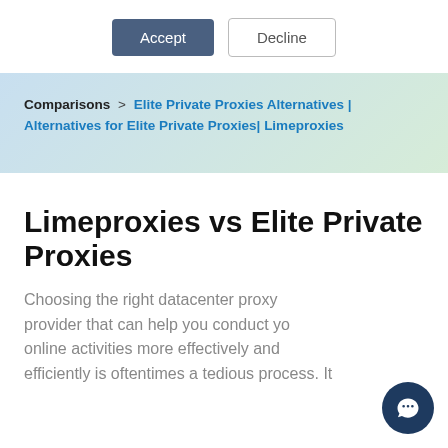[Figure (screenshot): Cookie consent buttons: Accept (dark blue) and Decline (outlined)]
Comparisons > Elite Private Proxies Alternatives | Alternatives for Elite Private Proxies| Limeproxies
Limeproxies vs Elite Private Proxies
Choosing the right datacenter proxy provider that can help you conduct your online activities more effectively and efficiently is oftentimes a tedious process. It